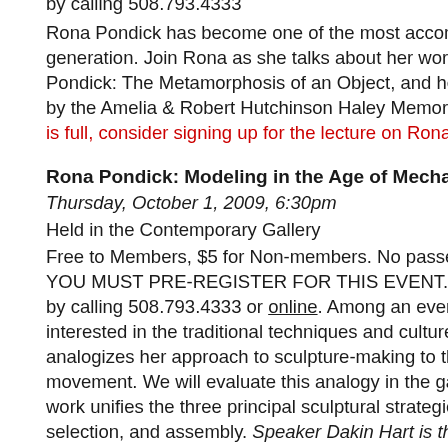by calling 508.793.4333
Rona Pondick has become one of the most accomplished sculptors of her generation. Join Rona as she talks about her work in the current exhibition Rona Pondick: The Metamorphosis of an Object, and her artistic journey. Sponsored by the Amelia & Robert Hutchinson Haley Memorial Lectures. If the first program is full, consider signing up for the lecture on Rona's process and ...
Rona Pondick: Modeling in the Age of Mechanical Reproduction
Thursday, October 1, 2009, 6:30pm
Held in the Contemporary Gallery
Free to Members, $5 for Non-members. No passes or discounts. YOU MUST PRE-REGISTER FOR THIS EVENT. SPACE IS LIMITED. Register by calling 508.793.4333 or online. Among an ever-shrinking number of artists interested in the traditional techniques and culture of sculpture, Rona Pondick analogizes her approach to sculpture-making to the values of the Arts and Crafts movement. We will evaluate this analogy in the gallery, where we will see how her work unifies the three principal sculptural strategies of the last 150 years: carving, selection, and assembly. Speaker Dakin Hart is the former Associate Curator at the Nasher Sculpture Center in Dallas, and he is currently completing his PhD at the Institute of Fine Arts in New York.